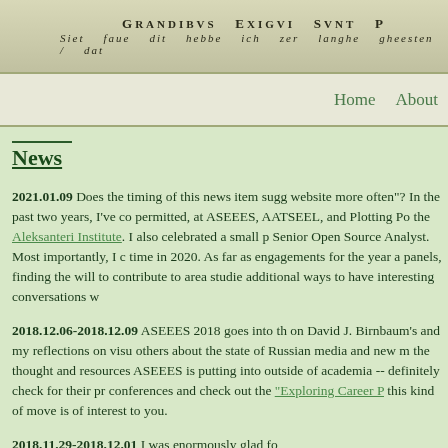[Figure (illustration): Banner image with Latin text 'GRANDIBVS EXIGVI SVNT P' and handwritten italic text below]
Home   About
News
2021.01.09 Does the timing of this news item sugg website more often"? In the past two years, I've co permitted, at ASEEES, AATSEEL, and Plotting Po the Aleksanteri Institute. I also celebrated a small p Senior Open Source Analyst. Most importantly, I c time in 2020. As far as engagements for the year a panels, finding the will to contribute to area studie additional ways to have interesting conversations w
2018.12.06-2018.12.09 ASEEES 2018 goes into th on David J. Birnbaum's and my reflections on visu others about the state of Russian media and new m the thought and resources ASEEES is putting into outside of academia -- definitely check for their pr conferences and check out the "Exploring Career P this kind of move is of interest to you.
2018.11.29-2018.12.01 I was enormously glad fo